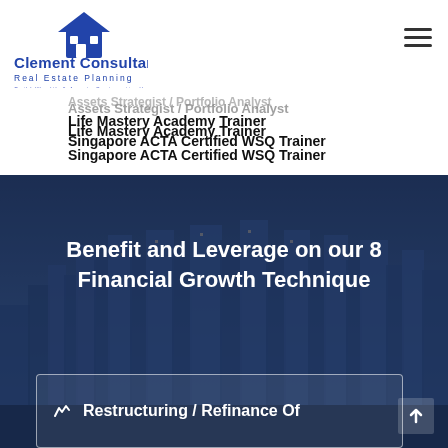[Figure (logo): Clement Consultancy Real Estate Planning logo with house icon]
Assets Strategist / Portfolio Analyst
Life Mastery Academy Trainer
Singapore ACTA Certified WSQ Trainer
[Figure (photo): City skyline with dark blue overlay background]
Benefit and Leverage on our 8 Financial Growth Technique
Restructuring / Refinance Of